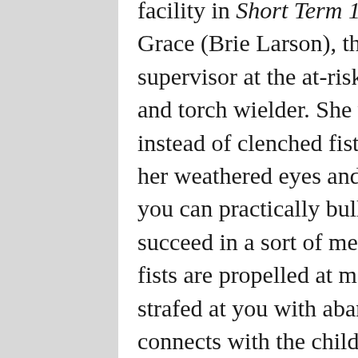facility in Short Term 12 are half-mast and aching. Grace (Brie Larson), the steely but sincere supervisor at the at-risk home, is the shield barer and torch wielder. She works with open palms instead of clenched fists. Between the wisdom in her weathered eyes and the wry, restrained smile, you can practically bullet point why she would succeed in a sort of mercurial atmosphere where fists are propelled at maws and curse words are strafed at you with abandon. Ultimately, Grace connects with the children at the foster home because of her